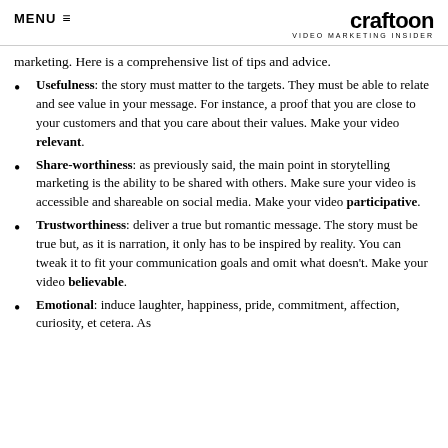MENU  craftoon VIDEO MARKETING INSIDER
marketing. Here is a comprehensive list of tips and advice.
Usefulness: the story must matter to the targets. They must be able to relate and see value in your message. For instance, a proof that you are close to your customers and that you care about their values. Make your video relevant.
Share-worthiness: as previously said, the main point in storytelling marketing is the ability to be shared with others. Make sure your video is accessible and shareable on social media. Make your video participative.
Trustworthiness: deliver a true but romantic message. The story must be true but, as it is narration, it only has to be inspired by reality. You can tweak it to fit your communication goals and omit what doesn't. Make your video believable.
Emotional: induce laughter, happiness, pride, commitment, affection, curiosity, et cetera. As